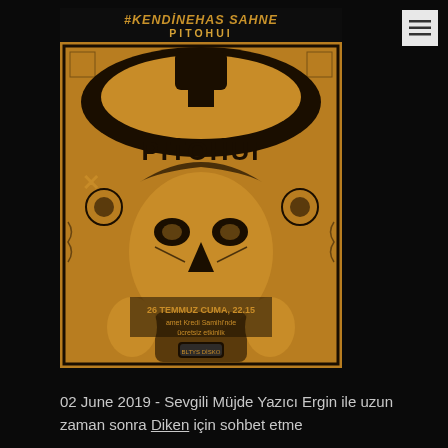[Figure (illustration): Event poster for Pitohui band. Dark background with orange/brown illustrated poster. Top text: #KENDİNEHAS SAHNE and PITOHUI. Central image: ornate illustrated figure with tribal/decorative motifs, large stylized bird/figure. Bottom text on poster: 26 TEMMUZ CUMA, 22.15, with additional details. Menu icon (three horizontal lines) in top right corner.]
02 June 2019 - Sevgili Müjde Yazıcı Ergin ile uzun zaman sonra Diken için sohbet etme